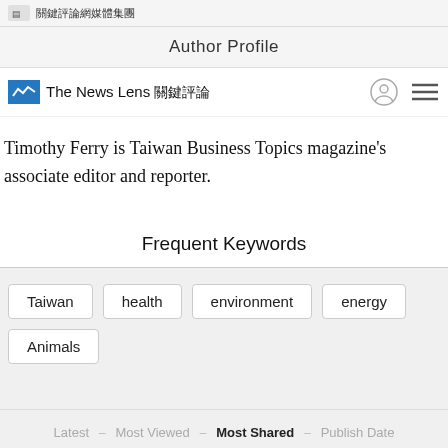關鍵評論網媒體集團
Author Profile
[Figure (logo): The News Lens 關鍵評論 logo with blue icon and navigation icons]
Timothy Ferry is Taiwan Business Topics magazine's associate editor and reporter.
Frequent Keywords
Taiwan
health
environment
energy
Animals
Latest - Most Viewed - Most Shared - Publish Date